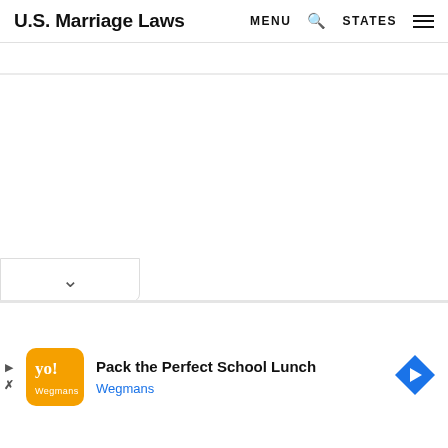U.S. Marriage Laws  MENU  STATES
Pack the Perfect School Lunch
Wegmans